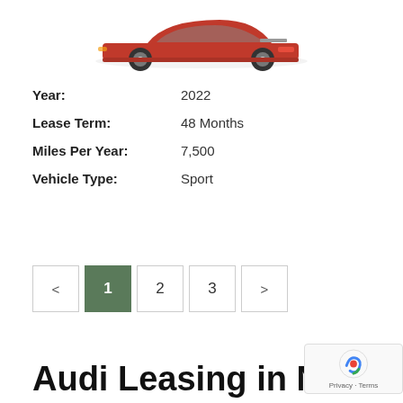[Figure (photo): Red sport car seen from rear-side angle, positioned near top of page]
Year: 2022
Lease Term: 48 Months
Miles Per Year: 7,500
Vehicle Type: Sport
< 1 2 3 > (pagination controls)
Audi Leasing in New